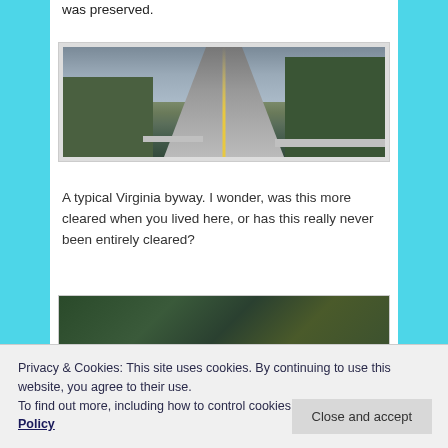was preserved.
[Figure (photo): Street view photograph of a typical Virginia byway road lined with trees on both sides, with a cloudy sky overhead.]
A typical Virginia byway. I wonder, was this more cleared when you lived here, or has this really never been entirely cleared?
[Figure (photo): Aerial/satellite view of a wooded area, partially visible at bottom of page.]
Privacy & Cookies: This site uses cookies. By continuing to use this website, you agree to their use.
To find out more, including how to control cookies, see here: Cookie Policy
Close and accept